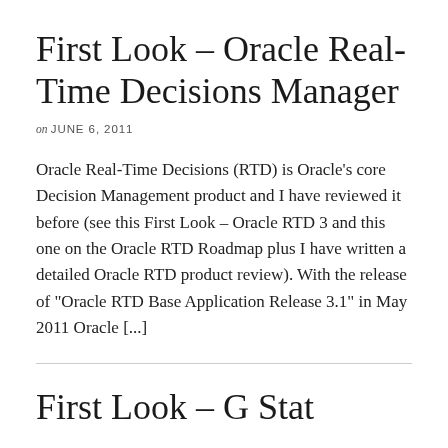First Look – Oracle Real-Time Decisions Manager
on JUNE 6, 2011
Oracle Real-Time Decisions (RTD) is Oracle's core Decision Management product and I have reviewed it before (see this First Look – Oracle RTD 3 and this one on the Oracle RTD Roadmap plus I have written a detailed Oracle RTD product review). With the release of “Oracle RTD Base Application Release 3.1” in May 2011 Oracle [...]
First Look – G Stat